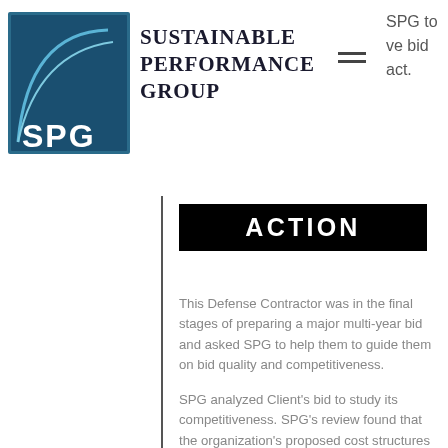Sustainable Performance Group
ACTION
This Defense Contractor was in the final stages of preparing a major multi-year bid and asked SPG to help them to guide them on bid quality and competitiveness.
SPG analyzed Client’s bid to study its competitiveness. SPG’s review found that the organization’s proposed cost structures were higher than that of the competitor and resulted in both lower margins but also reduced flexibility. SPG conducted a cost reduction value accelerator to determine ways to